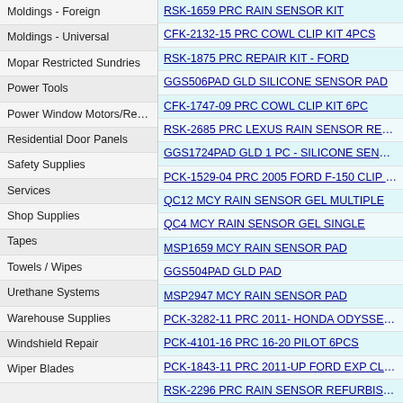Moldings - Foreign
Moldings - Universal
Mopar Restricted Sundries
Power Tools
Power Window Motors/Regulat
Residential Door Panels
Safety Supplies
Services
Shop Supplies
Tapes
Towels / Wipes
Urethane Systems
Warehouse Supplies
Windshield Repair
Wiper Blades
RSK-1659 PRC RAIN SENSOR KIT
CFK-2132-15 PRC COWL CLIP KIT 4PCS
RSK-1875 PRC REPAIR KIT - FORD
GGS506PAD GLD SILICONE SENSOR PAD
CFK-1747-09 PRC COWL CLIP KIT 6PC
RSK-2685 PRC LEXUS RAIN SENSOR REFURB KI
GGS1724PAD GLD 1 PC - SILICONE SENSOR PAD
PCK-1529-04 PRC 2005 FORD F-150 CLIP KIT
QC12 MCY RAIN SENSOR GEL MULTIPLE
QC4 MCY RAIN SENSOR GEL SINGLE
MSP1659 MCY RAIN SENSOR PAD
GGS504PAD GLD PAD
MSP2947 MCY RAIN SENSOR PAD
PCK-3282-11 PRC 2011- HONDA ODYSSEY 8PCS
PCK-4101-16 PRC 16-20 PILOT 6PCS
PCK-1843-11 PRC 2011-UP FORD EXP CLIPKIT16
RSK-2296 PRC RAIN SENSOR REFURBISHING KI
CFK-3741-14 PRC SUBARU FORESTER COWL KIT
CFK-3918-15 PRC SUBARU LEGACY COWL KIT
CFK-4534-17 PRC HONDA CRV CLIP KIT 11PCS
PCK-1099-80 PRC MOLDING CLIPS 20 PCS FORD
RSK-2731 PRC 07-08 BMW X5
CFK-3176-10 PRC COWL CLIP KIT 4PCS
CFK-4260-16 PRC COWL CLIP KIT 4PCS
PCK-4793-18 PRC WS CLIPS 8 PC